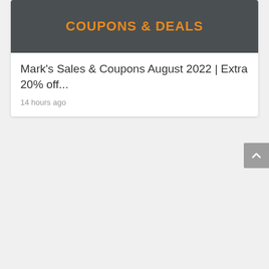[Figure (screenshot): Dark gray banner image with orange bold text reading 'COUPONS & DEALS']
Mark's Sales & Coupons August 2022 | Extra 20% off...
14 hours ago